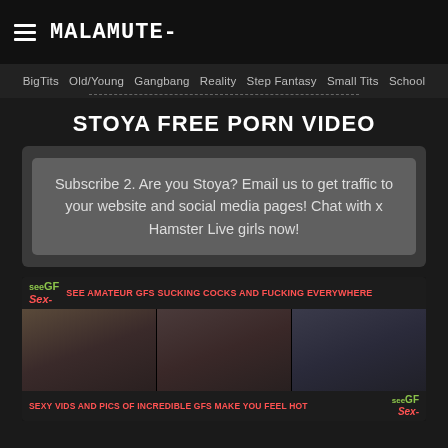MALAMUTE-
BigTits  Old/Young  Gangbang  Reality  Step Fantasy  Small Tits  School
STOYA FREE PORN VIDEO
Subscribe 2. Are you Stoya? Email us to get traffic to your website and social media pages! Chat with x Hamster Live girls now!
[Figure (photo): Advertisement banner for seeGFsex.com showing amateur content with red text: SEE AMATEUR GFS SUCKING COCKS AND FUCKING EVERYWHERE and SEXY VIDS AND PICS OF INCREDIBLE GFS MAKE YOU FEEL HOT]